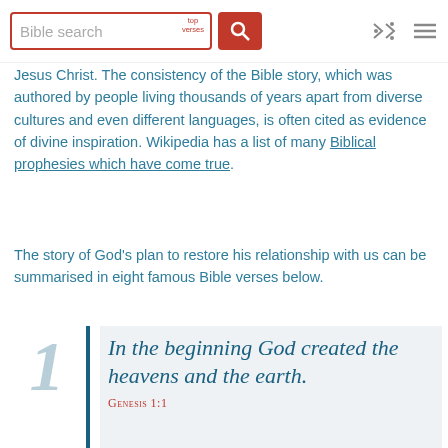Bible search | top verses
Jesus Christ. The consistency of the Bible story, which was authored by people living thousands of years apart from diverse cultures and even different languages, is often cited as evidence of divine inspiration. Wikipedia has a list of many Biblical prophesies which have come true.
The story of God's plan to restore his relationship with us can be summarised in eight famous Bible verses below.
1 In the beginning God created the heavens and the earth. GENESIS 1:1